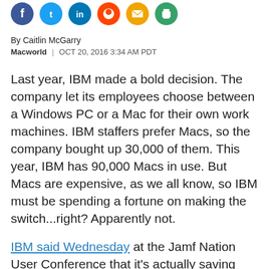[Figure (other): Row of social media sharing icons: Facebook (blue circle), Twitter (light blue circle), LinkedIn (blue circle), Reddit (orange circle), Email (yellow/orange circle), Print (green circle)]
By Caitlin McGarry
Macworld  |  OCT 20, 2016 3:34 AM PDT
Last year, IBM made a bold decision. The company let its employees choose between a Windows PC or a Mac for their own work machines. IBM staffers prefer Macs, so the company bought up 30,000 of them. This year, IBM has 90,000 Macs in use. But Macs are expensive, as we all know, so IBM must be spending a fortune on making the switch...right? Apparently not.
IBM said Wednesday at the Jamf Nation User Conference that it's actually saving money on each Mac: $273 to $543 per Mac over four years, compared to a Windows PC over the same time